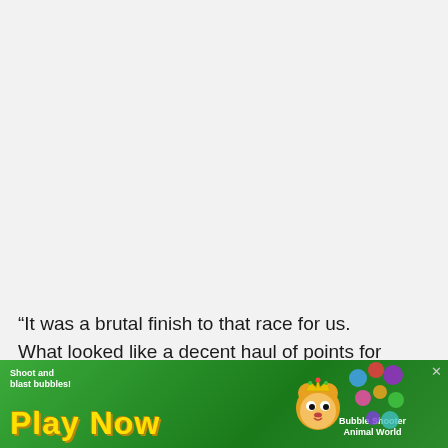“It was a brutal finish to that race for us. What looked like a decent haul of points for us evaporated in the last couple of laps there.” Red Bull’s late misfortune allowed seven-time champion Hamilton to help himself to third place.
[Figure (illustration): Mobile game advertisement banner for a bubble shooter game titled 'Play Now' with cartoon animal mascot and colorful bubbles]